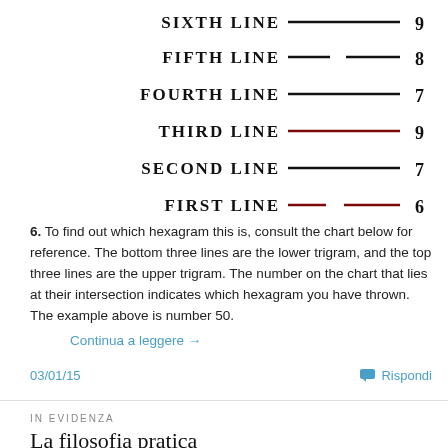[Figure (illustration): Hexagram lines diagram showing six named lines (SIXTH through FIRST) each with a line segment (solid black or dashed dark red) and a number (9, 8, 7, 9, 7, 6)]
6. To find out which hexagram this is, consult the chart below for reference. The bottom three lines are the lower trigram, and the top three lines are the upper trigram. The number on the chart that lies at their intersection indicates which hexagram you have thrown. The example above is number 50.
Continua a leggere →
03/01/15
Rispondi
IN EVIDENZA
La filosofia pratica
B.K.S. Iyengar